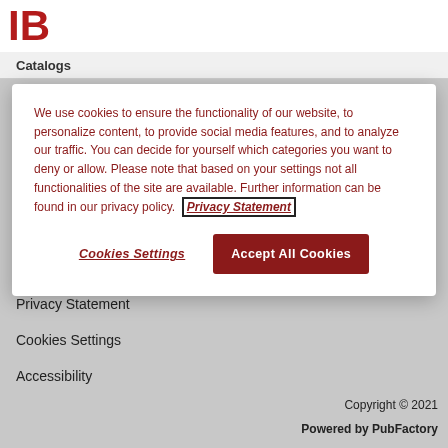IB Catalogs
We use cookies to ensure the functionality of our website, to personalize content, to provide social media features, and to analyze our traffic. You can decide for yourself which categories you want to deny or allow. Please note that based on your settings not all functionalities of the site are available. Further information can be found in our privacy policy. Privacy Statement
Cookies Settings
Accept All Cookies
Privacy Statement
Cookies Settings
Accessibility
Copyright © 2021
Powered by PubFactory